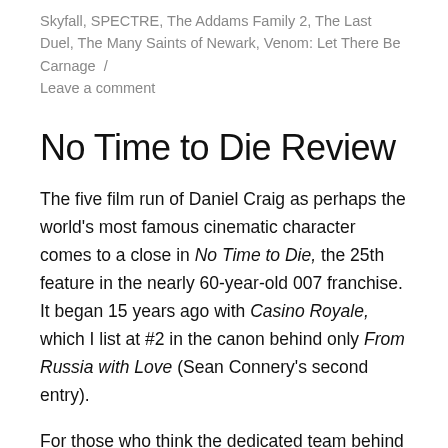Skyfall, SPECTRE, The Addams Family 2, The Last Duel, The Many Saints of Newark, Venom: Let There Be Carnage / Leave a comment
No Time to Die Review
The five film run of Daniel Craig as perhaps the world's most famous cinematic character comes to a close in No Time to Die, the 25th feature in the nearly 60-year-old 007 franchise. It began 15 years ago with Casino Royale, which I list at #2 in the canon behind only From Russia with Love (Sean Connery's second entry).
For those who think the dedicated team behind the series have no time for surprises, be